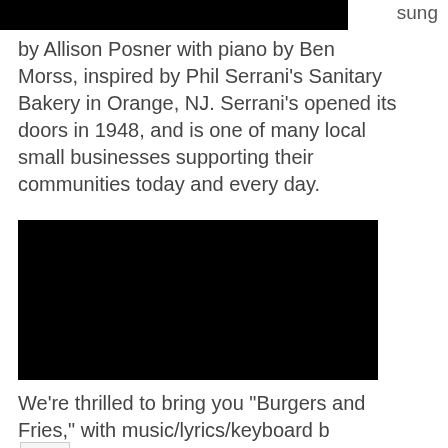sung
by Allison Posner with piano by Ben Morss, inspired by Phil Serrani's Sanitary Bakery in Orange, NJ. Serrani's opened its doors in 1948, and is one of many local small businesses supporting their communities today and every day.
[Figure (screenshot): Black video player rectangle]
We're thrilled to bring you "Burgers and Fries," with music/lyrics/keyboard by Ben Morss, performed by Varin Ayala.